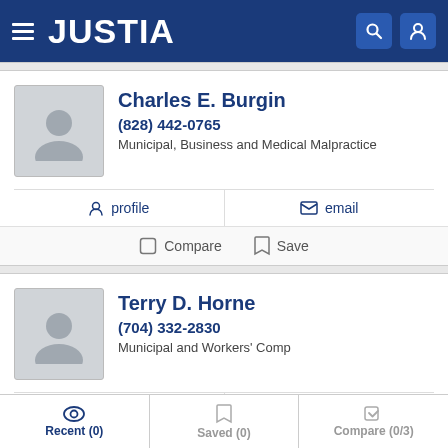JUSTIA
Charles E. Burgin
(828) 442-0765
Municipal, Business and Medical Malpractice
profile   email
Compare   Save
Terry D. Horne
(704) 332-2830
Municipal and Workers' Comp
profile   email
Recent (0)   Saved (0)   Compare (0/3)